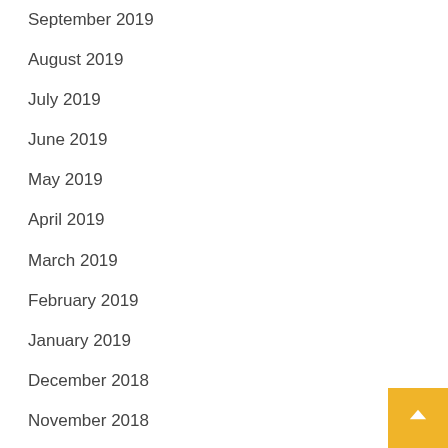September 2019
August 2019
July 2019
June 2019
May 2019
April 2019
March 2019
February 2019
January 2019
December 2018
November 2018
October 2018
January 2017